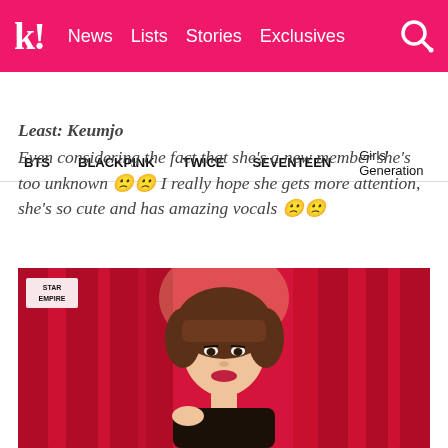k! News Lists Stories Exclusives
BTS  BLACKPINK  TWICE  SEVENTEEN  Girls' Generation
Least: Keumjo
Even considering the fact that she's a new member she's too unknown 🙁🙁 I really hope she gets more attention, she's so cute and has amazing vocals 🙁🙁
[Figure (photo): Photo of Keumjo, a young Korean woman with brown hair and bangs, peeking through red curtains. Small 'STAR EMPIRE' label in the top left of the photo.]